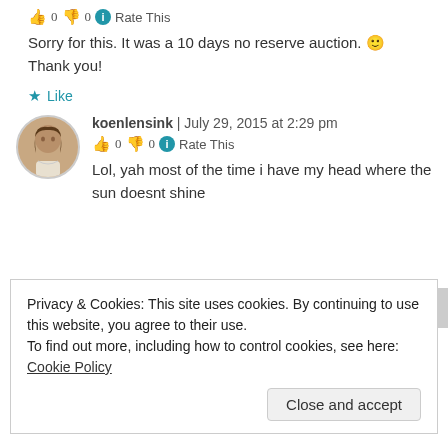👍 0 👎 0 ℹ Rate This
Sorry for this. It was a 10 days no reserve auction. 🙂 Thank you!
★ Like
koenlensink | July 29, 2015 at 2:29 pm
👍 0 👎 0 ℹ Rate This
Lol, yah most of the time i have my head where the sun doesnt shine
Privacy & Cookies: This site uses cookies. By continuing to use this website, you agree to their use.
To find out more, including how to control cookies, see here: Cookie Policy
Close and accept